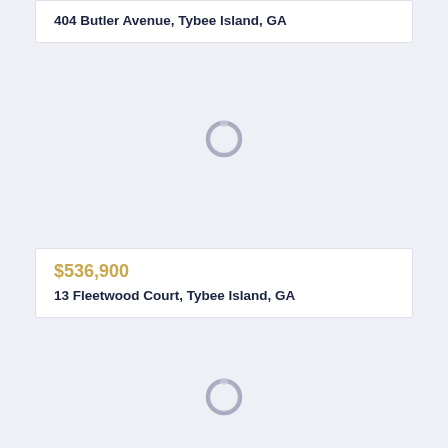404 Butler Avenue, Tybee Island, GA
[Figure (other): Loading spinner circle icon]
$536,900
13 Fleetwood Court, Tybee Island, GA
[Figure (other): Loading spinner circle icon]